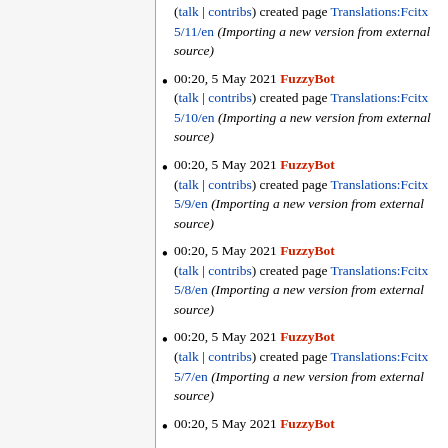(talk | contribs) created page Translations:Fcitx 5/11/en (Importing a new version from external source)
00:20, 5 May 2021 FuzzyBot (talk | contribs) created page Translations:Fcitx 5/10/en (Importing a new version from external source)
00:20, 5 May 2021 FuzzyBot (talk | contribs) created page Translations:Fcitx 5/9/en (Importing a new version from external source)
00:20, 5 May 2021 FuzzyBot (talk | contribs) created page Translations:Fcitx 5/8/en (Importing a new version from external source)
00:20, 5 May 2021 FuzzyBot (talk | contribs) created page Translations:Fcitx 5/7/en (Importing a new version from external source)
00:20, 5 May 2021 FuzzyBot